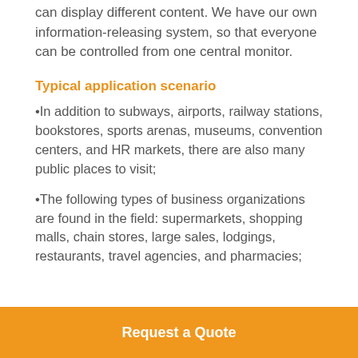can display different content. We have our own information-releasing system, so that everyone can be controlled from one central monitor.
Typical application scenario
•In addition to subways, airports, railway stations, bookstores, sports arenas, museums, convention centers, and HR markets, there are also many public places to visit;
•The following types of business organizations are found in the field: supermarkets, shopping malls, chain stores, large sales, lodgings, restaurants, travel agencies, and pharmacies;
Request a Quote